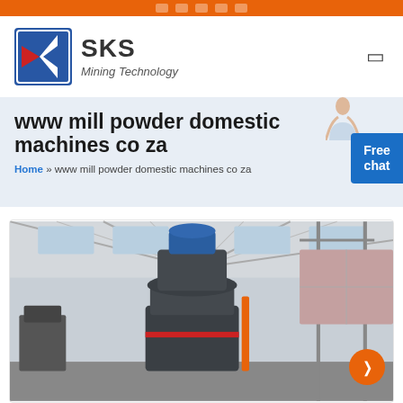SKS Mining Technology
www mill powder domestic machines co za
Home » www mill powder domestic machines co za
[Figure (photo): Industrial mining mill powder machine installed inside a factory/warehouse building, large grey cylindrical vertical mill with a blue motor on top, industrial steel structure roof visible in background]